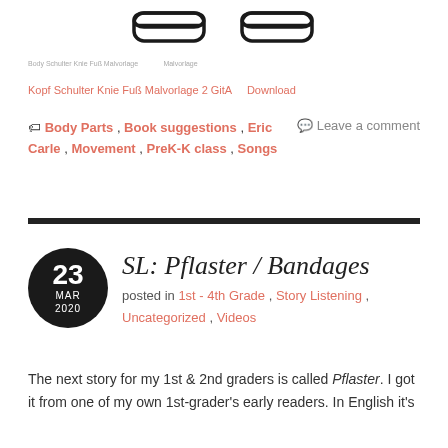[Figure (illustration): Two illustrated shoe/boot outlines drawn in black line art style, centered at top of page]
Body Schulter Knie Fuß Malvorlage
Kopf Schulter Knie Fuß Malvorlage 2 GitA   Download
🏷 Body Parts , Book suggestions , Eric Carle , Movement , PreK-K class , Songs
💬 Leave a comment
SL: Pflaster / Bandages
posted in 1st - 4th Grade , Story Listening , Uncategorized , Videos
The next story for my 1st & 2nd graders is called Pflaster. I got it from one of my own 1st-grader's early readers. In English it's